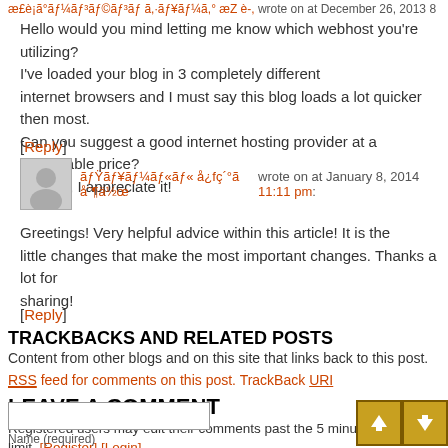æ£è¡ã°ãƒ¼ãƒ³ãƒ©ãƒ³ãƒ ã,·ãƒ¥ãƒ¼ã,° æZ è-, wrote on at December 26, 2013
Hello would you mind letting me know which webhost you're utilizing? I've loaded your blog in 3 completely different internet browsers and I must say this blog loads a lot quicker then most. Can you suggest a good internet hosting provider at a reasonable price? Thanks, I appreciate it!
[Reply]
ãƒŸãƒ¥ãƒ¼ãƒ«ãƒ« å¿fç´°ãå¨¶ä½œ wrote on at January 8, 2014 11:11 pm:
Greetings! Very helpful advice within this article! It is the little changes that make the most important changes. Thanks a lot for sharing!
[Reply]
TRACKBACKS AND RELATED POSTS
Content from other blogs and on this site that links back to this post.
RSS feed for comments on this post. TrackBack URI
LEAVE A COMMENT
Registered users may edit their comments past the 5 minute limit. [Register] [Login] HTML is allowed, but posts containing more than two links or sketch
Name (required)